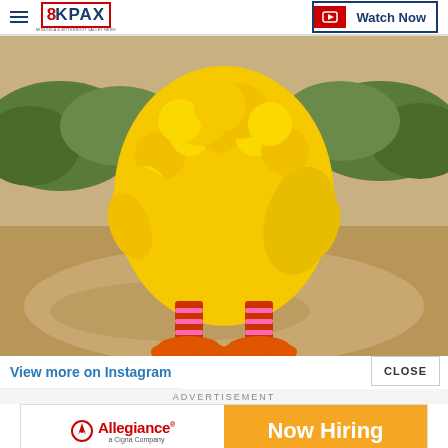8KPAX — Watch Now
[Figure (photo): Big Bird costume from behind, showing yellow feathered body, orange feet, and pink/red striped leg warmers, standing on a sandy path with shrubs in the background.]
View more on Instagram
CLOSE
ADVERTISEMENT
[Figure (logo): Allegiance a Cigna Company advertisement banner with 'Now Hiring' text on orange background.]